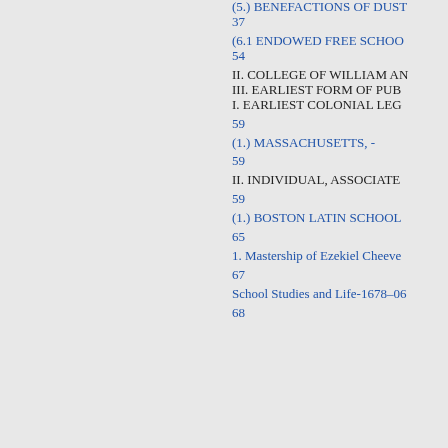(5.) BENEFACTIONS OF DUST...
37
(6.1 ENDOWED FREE SCHOO...
54
II. COLLEGE OF WILLIAM AN...
III. EARLIEST FORM OF PUB...
I. EARLIEST COLONIAL LEG...
59
(1.) MASSACHUSETTS, -
59
II. INDIVIDUAL, ASSOCIATE...
59
(1.) BOSTON LATIN SCHOOL...
65
1. Mastership of Ezekiel Cheeve...
67
School Studies and Life-1678-06...
68